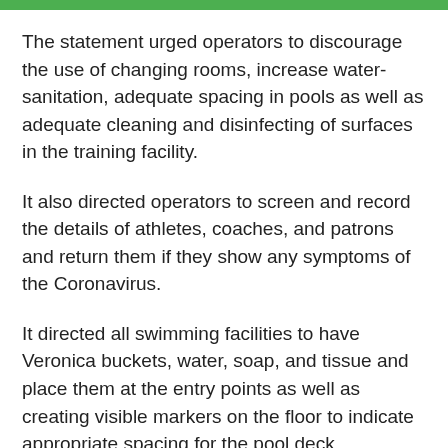The statement urged operators to discourage the use of changing rooms, increase water-sanitation, adequate spacing in pools as well as adequate cleaning and disinfecting of surfaces in the training facility.
It also directed operators to screen and record the details of athletes, coaches, and patrons and return them if they show any symptoms of the Coronavirus.
It directed all swimming facilities to have Veronica buckets, water, soap, and tissue and place them at the entry points as well as creating visible markers on the floor to indicate appropriate spacing for the pool deck, entrances, etc.
According to the GSA, these guidelines culled from other FINA (International Swimming Federations)affiliated